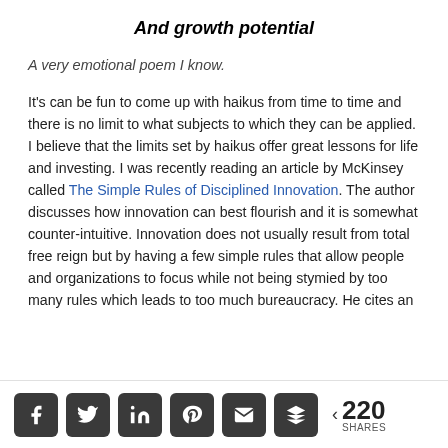And growth potential
A very emotional poem I know.
It's can be fun to come up with haikus from time to time and there is no limit to what subjects to which they can be applied. I believe that the limits set by haikus offer great lessons for life and investing. I was recently reading an article by McKinsey called The Simple Rules of Disciplined Innovation. The author discusses how innovation can best flourish and it is somewhat counter-intuitive. Innovation does not usually result from total free reign but by having a few simple rules that allow people and organizations to focus while not being stymied by too many rules which leads to too much bureaucracy. He cites an
< 220 SHARES [social share buttons: Facebook, Twitter, LinkedIn, Pinterest, Email, Buffer]